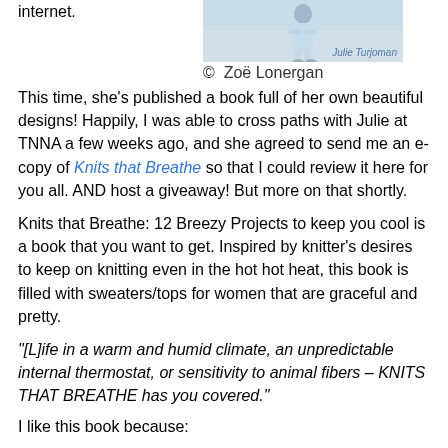internet.
[Figure (photo): Photo of a person in light blue/white clothing, with image credit 'Julie Turjoman']
© Zoë Lonergan
This time, she's published a book full of her own beautiful designs! Happily, I was able to cross paths with Julie at TNNA a few weeks ago, and she agreed to send me an e-copy of Knits that Breathe so that I could review it here for you all. AND host a giveaway! But more on that shortly.
Knits that Breathe: 12 Breezy Projects to keep you cool is a book that you want to get. Inspired by knitter's desires to keep on knitting even in the hot hot heat, this book is filled with sweaters/tops for women that are graceful and pretty.
"[L]ife in a warm and humid climate, an unpredictable internal thermostat, or sensitivity to animal fibers – KNITS THAT BREATHE has you covered."
I like this book because:
It has a fibers resource guide: I LOVE charts, and